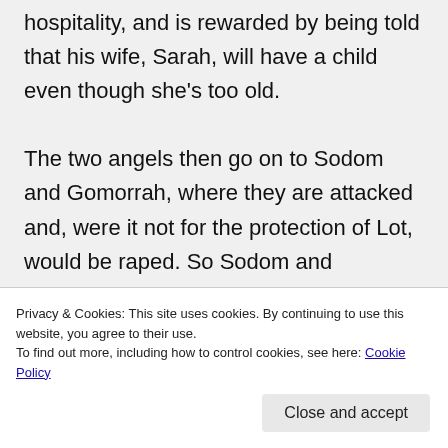hospitality, and is rewarded by being told that his wife, Sarah, will have a child even though she's too old.

The two angels then go on to Sodom and Gomorrah, where they are attacked and, were it not for the protection of Lot, would be raped. So Sodom and Gomorrah are destroyed.
Privacy & Cookies: This site uses cookies. By continuing to use this website, you agree to their use.
To find out more, including how to control cookies, see here: Cookie Policy
Close and accept